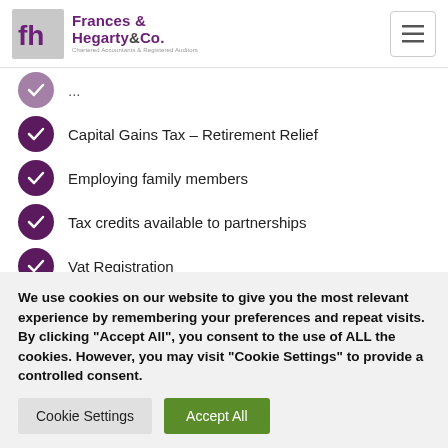Frances Hegarty & Co. — Chartered Accountants & Registered Auditors
(partial item, cut off)
Capital Gains Tax – Retirement Relief
Employing family members
Tax credits available to partnerships
Vat Registration
Contact X to ensure you are availing of all reliefs available and that you are structured in the best possible position for you...
We use cookies on our website to give you the most relevant experience by remembering your preferences and repeat visits. By clicking "Accept All", you consent to the use of ALL the cookies. However, you may visit "Cookie Settings" to provide a controlled consent.